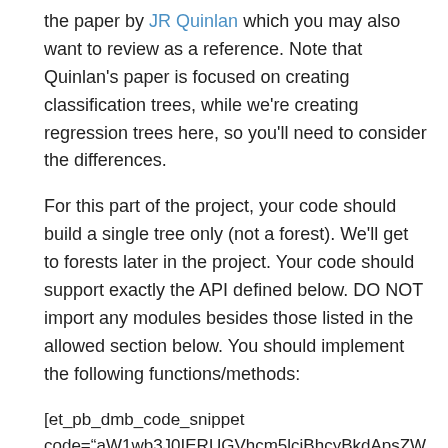the paper by JR Quinlan which you may also want to review as a reference. Note that Quinlan's paper is focused on creating classification trees, while we're creating regression trees here, so you'll need to consider the differences.
For this part of the project, your code should build a single tree only (not a forest). We'll get to forests later in the project. Your code should support exactly the API defined below. DO NOT import any modules besides those listed in the allowed section below. You should implement the following functions/methods:
[et_pb_dmb_code_snippet code="aW1wb3J0IERUGVhcm5lciBhcyBkdApsZWFybVyID0g_builder_version="4.4.6" hover_enabled="0" language="python"]aW1wb3J0IERUGVhcm5lciBhcyBkdApsZWFybVy [/et_pb_dmb_code_snippet]